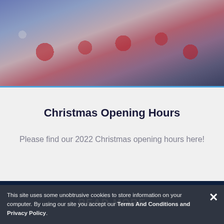[Figure (photo): Christmas-themed banner photo showing ornaments, red baubles, a decorative tree, gift boxes with red ribbon on a snowy background with blue-purple overlay tones.]
Christmas Opening Hours
Please find our 2022 Christmas opening hours here!
READ MORE
This site uses some unobtrusive cookies to store information on your computer. By using our site you accept our Terms And Conditions and Privacy Policy.